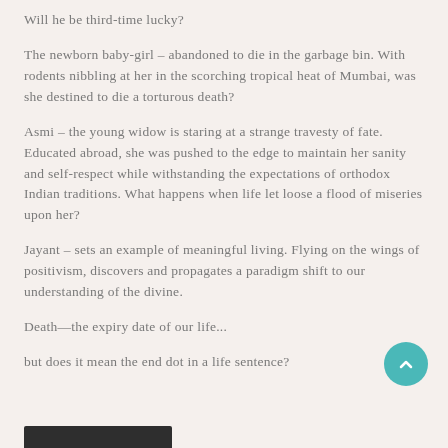Will he be third-time lucky?
The newborn baby-girl – abandoned to die in the garbage bin. With rodents nibbling at her in the scorching tropical heat of Mumbai, was she destined to die a torturous death?
Asmi – the young widow is staring at a strange travesty of fate. Educated abroad, she was pushed to the edge to maintain her sanity and self-respect while withstanding the expectations of orthodox Indian traditions. What happens when life let loose a flood of miseries upon her?
Jayant – sets an example of meaningful living. Flying on the wings of positivism, discovers and propagates a paradigm shift to our understanding of the divine.
Death—the expiry date of our life...
but does it mean the end dot in a life sentence?